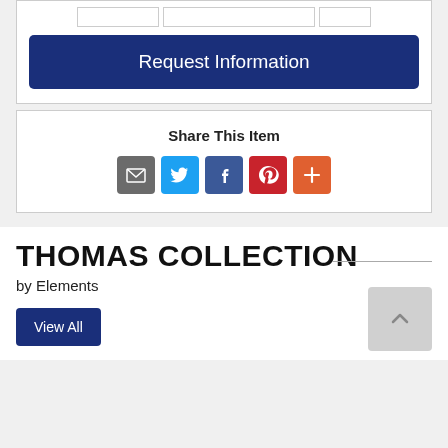[Figure (screenshot): Input row with three form field boxes at top of card]
Request Information
Share This Item
[Figure (infographic): Social share icons: email (grey), Twitter (blue), Facebook (blue), Pinterest (red), More (orange)]
THOMAS COLLECTION
by Elements
View All